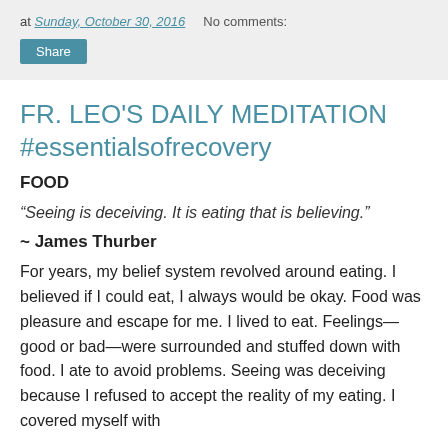at Sunday, October 30, 2016   No comments:
Share
FR. LEO'S DAILY MEDITATION #essentialsofrecovery
FOOD
“Seeing is deceiving. It is eating that is believing.”
~ James Thurber
For years, my belief system revolved around eating. I believed if I could eat, I always would be okay. Food was pleasure and escape for me. I lived to eat. Feelings—good or bad—were surrounded and stuffed down with food. I ate to avoid problems. Seeing was deceiving because I refused to accept the reality of my eating. I covered myself with